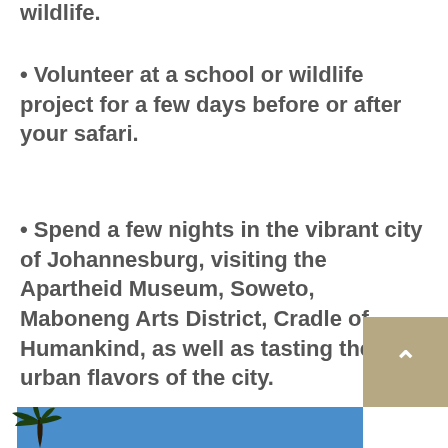wildlife.
• Volunteer at a school or wildlife project for a few days before or after your safari.
• Spend a few nights in the vibrant city of Johannesburg, visiting the Apartheid Museum, Soweto, Maboneng Arts District, Cradle of Humankind, as well as tasting the urban flavors of the city.
[Figure (photo): Partial view of a tropical beach scene with a palm tree against a blue sky, shown at the bottom of the page. A tan/beige scroll-to-top button with a white upward arrow is overlaid on the right side.]